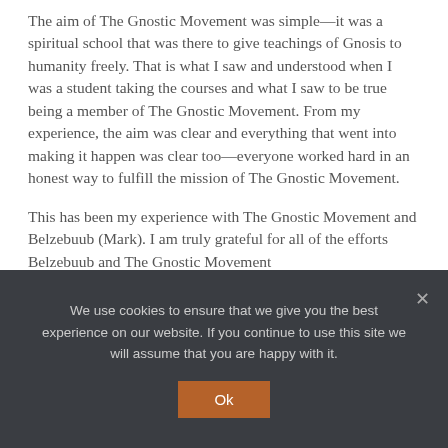The aim of The Gnostic Movement was simple—it was a spiritual school that was there to give teachings of Gnosis to humanity freely. That is what I saw and understood when I was a student taking the courses and what I saw to be true being a member of The Gnostic Movement. From my experience, the aim was clear and everything that went into making it happen was clear too—everyone worked hard in an honest way to fulfill the mission of The Gnostic Movement.
This has been my experience with The Gnostic Movement and Belzebuub (Mark). I am truly grateful for all of the efforts Belzebuub and The Gnostic Movement
We use cookies to ensure that we give you the best experience on our website. If you continue to use this site we will assume that you are happy with it.